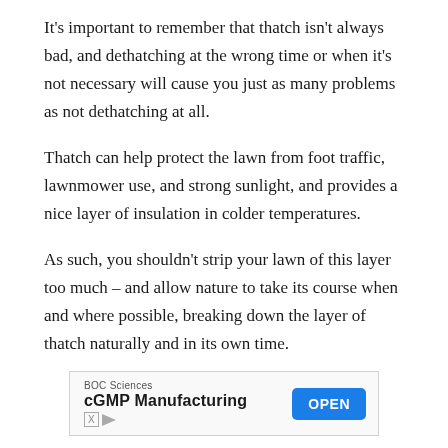It's important to remember that thatch isn't always bad, and dethatching at the wrong time or when it's not necessary will cause you just as many problems as not dethatching at all.
Thatch can help protect the lawn from foot traffic, lawnmower use, and strong sunlight, and provides a nice layer of insulation in colder temperatures.
As such, you shouldn't strip your lawn of this layer too much – and allow nature to take its course when and where possible, breaking down the layer of thatch naturally and in its own time.
[Figure (other): Advertisement banner for BOC Sciences cGMP Manufacturing with an OPEN button in blue]